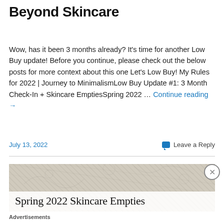Beyond Skincare
Wow, has it been 3 months already? It's time for another Low Buy update! Before you continue, please check out the below posts for more context about this one Let's Low Buy! My Rules for 2022 | Journey to MinimalismLow Buy Update #1: 3 Month Check-In + Skincare EmptiesSpring 2022 … Continue reading →
July 13, 2022
Leave a Reply
[Figure (photo): Header image for Spring 2022 Skincare Empties blog post, showing a light gray/beige textured background with botanical illustrations. An overlay at the bottom reads 'Spring 2022 Skincare Empties'.]
Advertisements